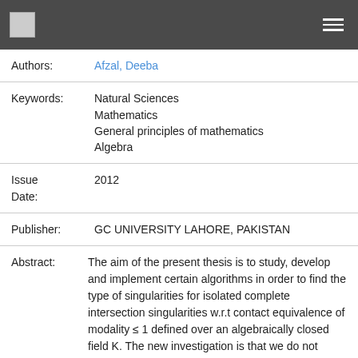| Authors: | Afzal, Deeba |
| Keywords: | Natural Sciences
Mathematics
General principles of mathematics
Algebra |
| Issue Date: | 2012 |
| Publisher: | GC UNIVERSITY LAHORE, PAKISTAN |
| Abstract: | The aim of the present thesis is to study, develop and implement certain algorithms in order to find the type of singularities for isolated complete intersection singularities w.r.t contact equivalence of modality ≤ 1 defined over an algebraically closed field K. The new investigation is that we do not compute the normal form of a given singularity because this would be space and time consuming. We present a charac- terization of the different |